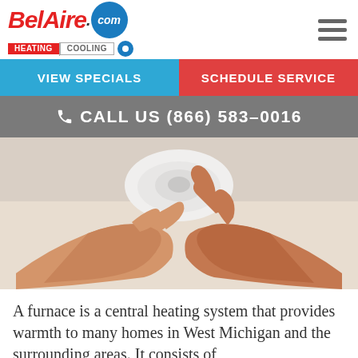[Figure (logo): BelAire.com Heating Cooling logo with red italic text and blue circle]
VIEW SPECIALS
SCHEDULE SERVICE
CALL US (866) 583-0016
[Figure (photo): Hands installing or pressing a round white smoke/CO detector on a ceiling]
A furnace is a central heating system that provides warmth to many homes in West Michigan and the surrounding areas. It consists of